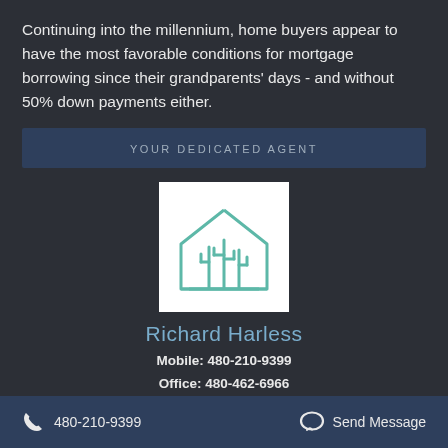Continuing into the millennium, home buyers appear to have the most favorable conditions for mortgage borrowing since their grandparents' days - and without 50% down payments either.
YOUR DEDICATED AGENT
[Figure (logo): Real estate company logo: outline of a house shape containing two cactus plants, drawn in teal/green lines on white background]
Richard Harless
Mobile: 480-210-9399
Office: 480-462-6966
480-210-9399   Send Message